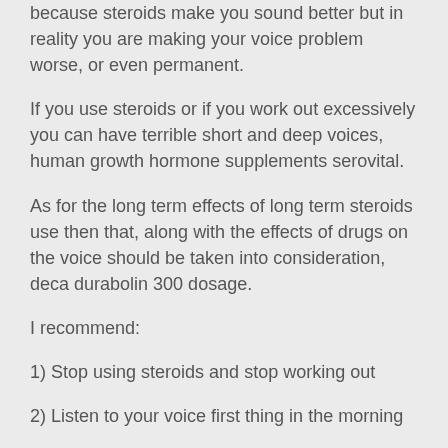because steroids make you sound better but in reality you are making your voice problem worse, or even permanent.
If you use steroids or if you work out excessively you can have terrible short and deep voices, human growth hormone supplements serovital.
As for the long term effects of long term steroids use then that, along with the effects of drugs on the voice should be taken into consideration, deca durabolin 300 dosage.
I recommend:
1) Stop using steroids and stop working out
2) Listen to your voice first thing in the morning
3) Keep speaking to yourself